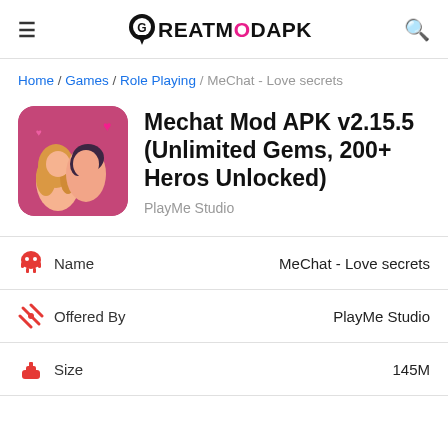GREATMODAPK
Home / Games / Role Playing / MeChat - Love secrets
Mechat Mod APK v2.15.5 (Unlimited Gems, 200+ Heros Unlocked)
PlayMe Studio
| Field | Value |
| --- | --- |
| Name | MeChat - Love secrets |
| Offered By | PlayMe Studio |
| Size | 145M |